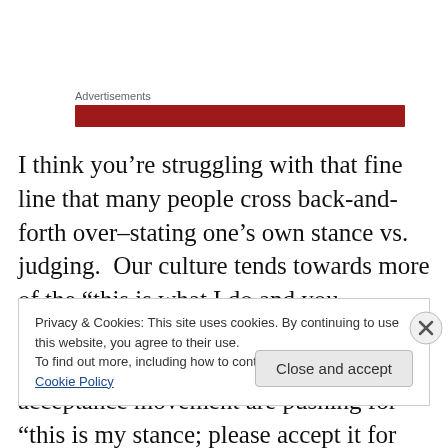Advertisements
[Figure (other): Red advertisement banner bar]
I think you’re struggling with that fine line that many people cross back-and-forth over–stating one’s own stance vs. judging.  Our culture tends towards more of the “this is what I do and you can/should do it too!”, but I know that Lesley, and many others in the fat acceptance movement are pushing for “this is my stance; please accept it for me,
Privacy & Cookies: This site uses cookies. By continuing to use this website, you agree to their use.
To find out more, including how to control cookies, see here: Cookie Policy